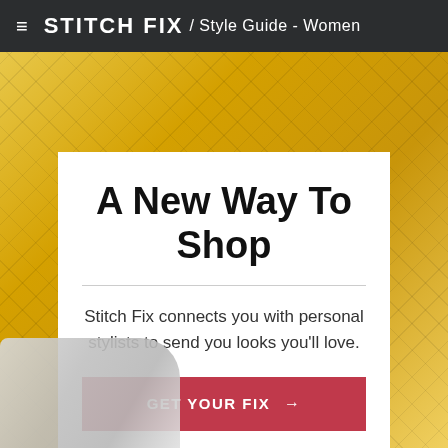≡ STITCH FIX / Style Guide - Women
[Figure (photo): Background photo of a yellow quilted puffer jacket with gray and white striped fabric in the lower left corner]
A New Way To Shop
Stitch Fix connects you with personal stylists to send you looks you'll love.
GET YOUR FIX →